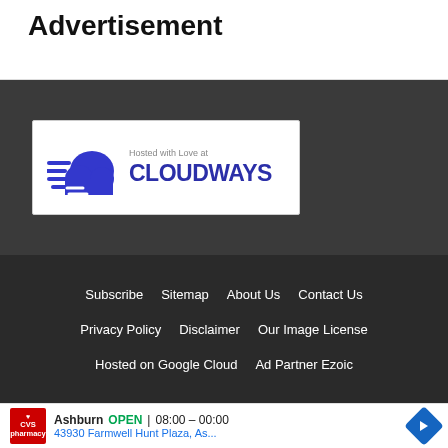Advertisement
[Figure (logo): Cloudways hosting logo banner: cloud icon with speed lines, text 'Hosted with Love at CLOUDWAYS']
Subscribe   Sitemap   About Us   Contact Us   Privacy Policy   Disclaimer   Our Image License   Hosted on Google Cloud   Ad Partner Ezoic
[Figure (screenshot): CVS Pharmacy advertisement: Ashburn OPEN 08:00 - 00:00, 43930 Farmwell Hunt Plaza, As...]